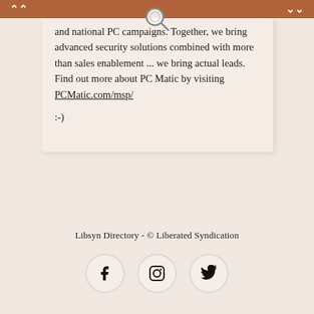... national PC campaigns. Together, we bring advanced security solutions combined with more than sales enablement ... we bring actual leads. Find out more about PC Matic by visiting PCMatic.com/msp/

:-)
Libsyn Directory - © Liberated Syndication